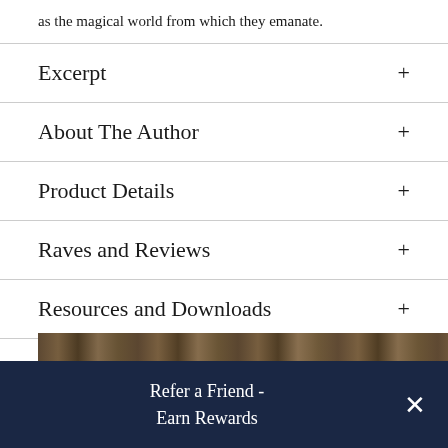as the magical world from which they emanate.
Excerpt
About The Author
Product Details
Raves and Reviews
Resources and Downloads
[Figure (photo): A horizontal strip showing a group of people, partially visible at the bottom of the page.]
Refer a Friend - Earn Rewards